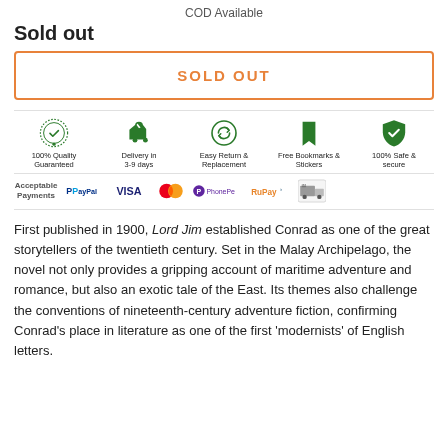COD Available
Sold out
[Figure (infographic): SOLD OUT button with orange border and text]
[Figure (infographic): Row of 5 service icons: 100% Quality Guaranteed, Delivery in 3-9 days, Easy Return & Replacement, Free Bookmarks & Stickers, 100% Safe & secure]
[Figure (infographic): Acceptable Payments row: PayPal, VISA, Mastercard, PhonePe, RuPay, COD truck icon]
First published in 1900, Lord Jim established Conrad as one of the great storytellers of the twentieth century. Set in the Malay Archipelago, the novel not only provides a gripping account of maritime adventure and romance, but also an exotic tale of the East. Its themes also challenge the conventions of nineteenth-century adventure fiction, confirming Conrad's place in literature as one of the first 'modernists' of English letters.